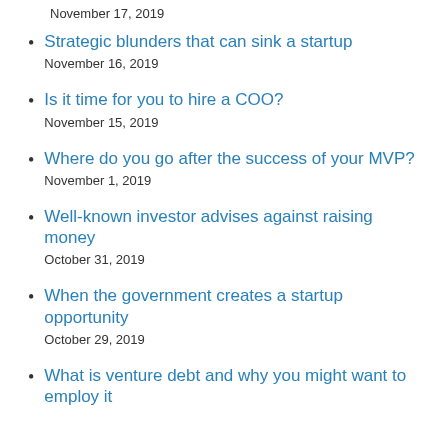November 17, 2019
Strategic blunders that can sink a startup
November 16, 2019
Is it time for you to hire a COO?
November 15, 2019
Where do you go after the success of your MVP?
November 1, 2019
Well-known investor advises against raising money
October 31, 2019
When the government creates a startup opportunity
October 29, 2019
What is venture debt and why you might want to employ it